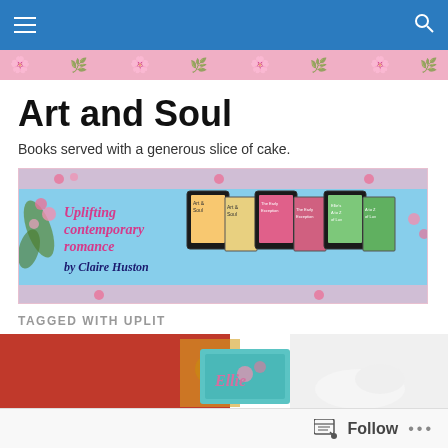Art and Soul – navigation bar with hamburger menu and search icon
[Figure (illustration): Pink floral decorative banner strip]
Art and Soul
Books served with a generous slice of cake.
[Figure (illustration): Promotional banner: Uplifting contemporary romance by Claire Huston, showing book covers for Art & Soul, The Early Exception, and A to Z of Love on a light blue background with pink floral border]
TAGGED WITH UPLIT
[Figure (photo): Partial photo of Santa Claus holding a blue book with floral design, red background with gold decoration]
Follow • •••